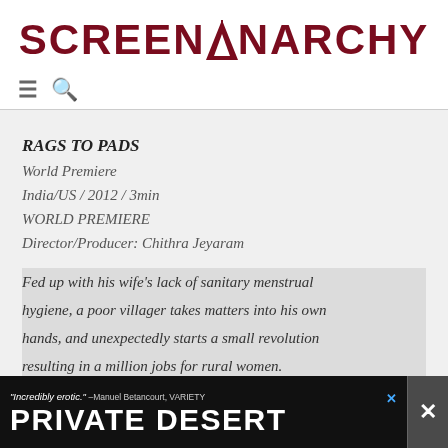SCREENANARCHY
[Figure (logo): ScreenAnarchy logo with stylized anarchist symbol in the letter A, dark red/maroon color]
RAGS TO PADS
World Premiere
India/US / 2012 / 3min
WORLD PREMIERE
Director/Producer: Chithra Jeyaram
Fed up with his wife's lack of sanitary menstrual hygiene, a poor villager takes matters into his own hands, and unexpectedly starts a small revolution resulting in a million jobs for rural women.
Tamil with English subtitles
RECURRENCE
[Figure (screenshot): Advertisement banner: "Incredibly erotic." -Manuel Betancourt, VARIETY — PRIVATE DESERT — with close button X]